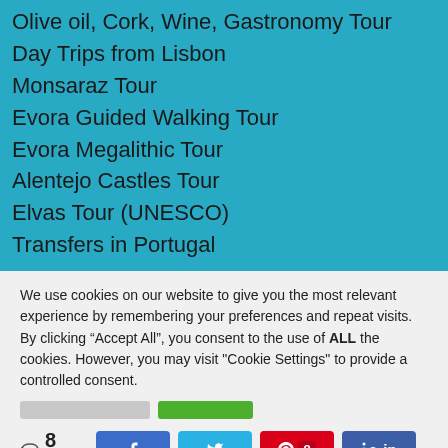Olive oil, Cork, Wine, Gastronomy Tour
Day Trips from Lisbon
Monsaraz Tour
Evora Guided Walking Tour
Evora Megalithic Tour
Alentejo Castles Tour
Elvas Tour (UNESCO)
Transfers in Portugal
We use cookies on our website to give you the most relevant experience by remembering your preferences and repeat visits. By clicking “Accept All”, you consent to the use of ALL the cookies. However, you may visit "Cookie Settings" to provide a controlled consent.
< 8 SHARES  [Facebook] [Twitter] [Pinterest 8] [LinkedIn]